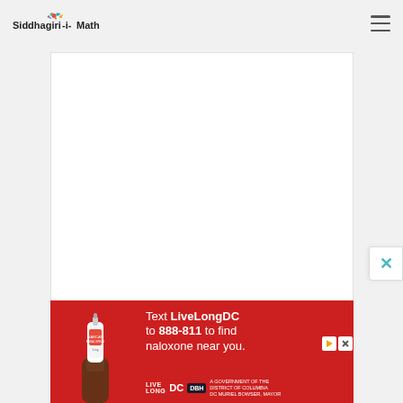Siddhagiri-Math
[Figure (other): White rectangular content area placeholder]
[Figure (screenshot): Advertisement banner with red background: Text LiveLongDC to 888-811 to find naloxone near you. Features an image of a nasal spray on the left and logos of LiveLong DC, DBH, and DC Government at the bottom.]